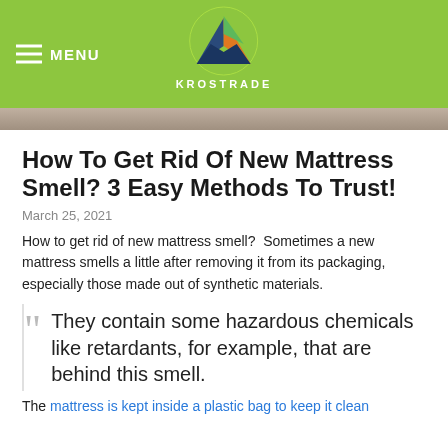MENU | KROSTRADE
[Figure (photo): Partial image strip at top of article — person lying on mattress, visible at top edge]
How To Get Rid Of New Mattress Smell? 3 Easy Methods To Trust!
March 25, 2021
How to get rid of new mattress smell?  Sometimes a new mattress smells a little after removing it from its packaging, especially those made out of synthetic materials.
They contain some hazardous chemicals like retardants, for example, that are behind this smell.
The mattress is kept inside a plastic bag to keep it clean